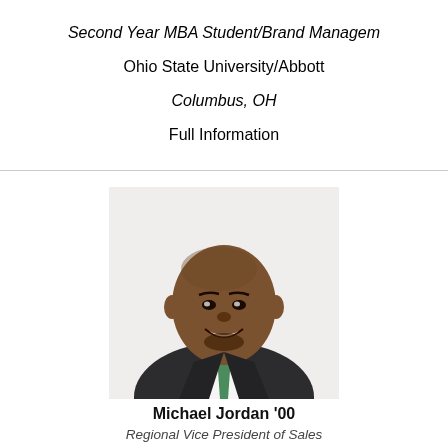Second Year MBA Student/Brand Managem
Ohio State University/Abbott
Columbus, OH
Full Information
[Figure (photo): Professional headshot of Michael Jordan '00, a smiling man in a dark suit with green tie, bald head, against a white background]
Michael Jordan '00
Regional Vice President of Sales
Brighthouse Financial
Canton, CT